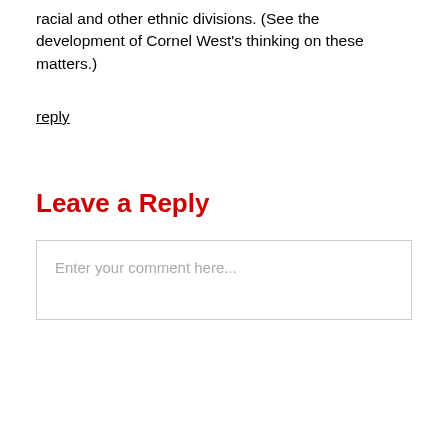racial and other ethnic divisions. (See the development of Cornel West’s thinking on these matters.)
reply
Leave a Reply
Enter your comment here...